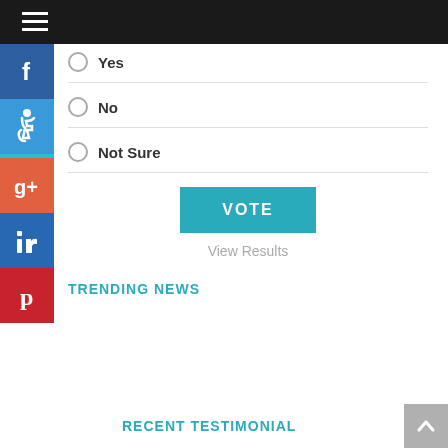Yes
No
Not Sure
[Figure (other): VOTE button with teal background and View Results link below]
TRENDING NEWS
RECENT TESTIMONIAL
[Figure (other): Left social sidebar with Facebook, accessibility, Google+, LinkedIn, Pinterest icons]